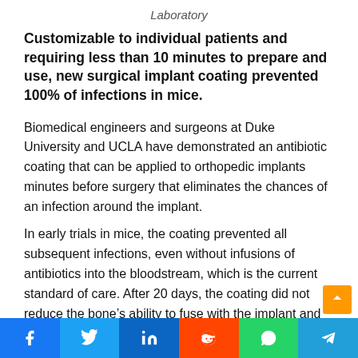Laboratory
Customizable to individual patients and requiring less than 10 minutes to prepare and use, new surgical implant coating prevented 100% of infections in mice.
Biomedical engineers and surgeons at Duke University and UCLA have demonstrated an antibiotic coating that can be applied to orthopedic implants minutes before surgery that eliminates the chances of an infection around the implant.
In early trials in mice, the coating prevented all subsequent infections, even without infusions of antibiotics into the bloodstream, which is the current standard of care. After 20 days, the coating did not reduce the bone’s ability to fuse with the implant and was completely absorbed by the body.